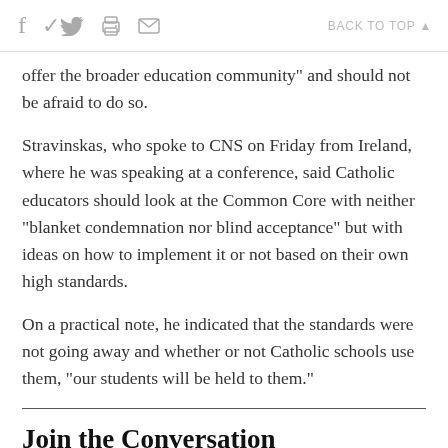f  [twitter]  [printer]  [mail]   BACK TO TOP ▲
offer the broader education community" and should not be afraid to do so.
Stravinskas, who spoke to CNS on Friday from Ireland, where he was speaking at a conference, said Catholic educators should look at the Common Core with neither "blanket condemnation nor blind acceptance" but with ideas on how to implement it or not based on their own high standards.
On a practical note, he indicated that the standards were not going away and whether or not Catholic schools use them, "our students will be held to them."
Join the Conversation
Send your thoughts and reactions to Letters to the Editor.